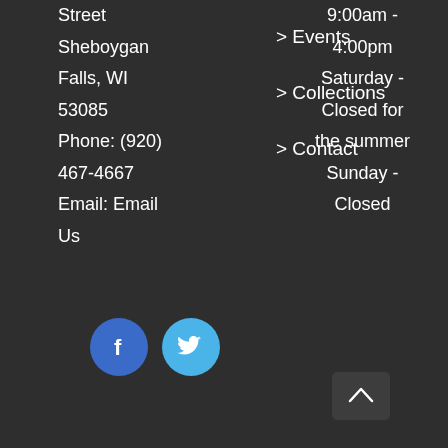Street
Sheboygan
Falls, WI
53085
Phone: (920)
467-4667
Email: Email
Us
9:00am -
4:00pm
Saturday -
Closed for
the summer
Sunday -
Closed
> Events
> Collections
> Contact
[Figure (logo): Facebook and Twitter social media icon buttons]
[Figure (other): Back to top arrow button]